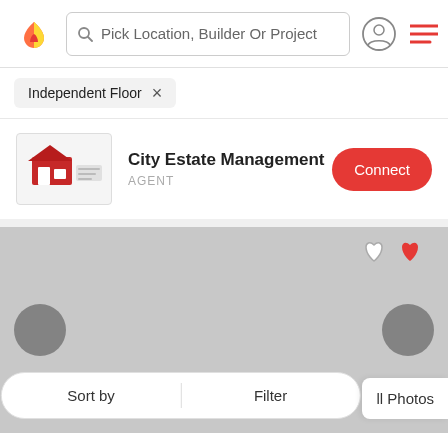[Figure (screenshot): App navigation bar with logo, search bar 'Pick Location, Builder Or Project', user icon, and hamburger menu]
Independent Floor ×
City Estate Management
AGENT
[Figure (screenshot): Connect button - red rounded button]
[Figure (photo): Property image placeholder (gray background) with heart icons, navigation arrows, Sort by, Filter buttons, and All Photos label]
3 BHK Apartment 1,600 sq ft
₹2.4 Cr
Euphoria Purvai  |  Bhawanipur, Kolkata
3 BHK Independent Builder Floor for sale in Bhawanipur Kolk... More